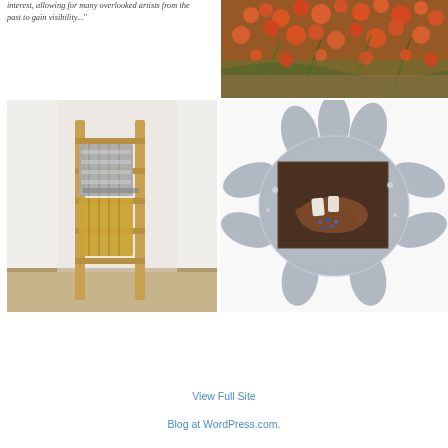interest, allowing for many overlooked artists from the past to gain visibility..."
[Figure (photo): Close-up of orange and green tropical botanical painting with red flowers and foliage]
[Figure (photo): Wooden ladder sculpture with bundled silver and yellow/gold rolled objects leaning against it, on a white background with wood floor]
[Figure (photo): Gray sculptural blob/cloud-shaped frame with a dark rectangular photo insert showing a hand with white nail art and blue gems]
View Full Site
Blog at WordPress.com.